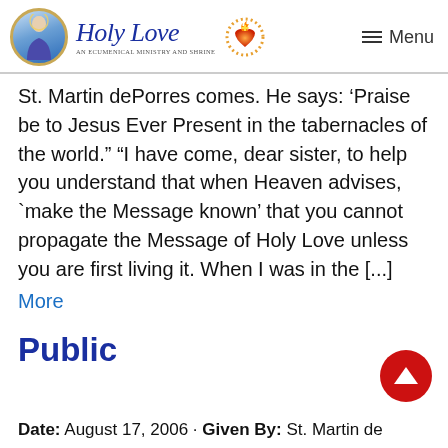Holy Love — An Ecumenical Ministry and Shrine | Menu
St. Martin dePorres comes. He says: 'Praise be to Jesus Ever Present in the tabernacles of the world.' "I have come, dear sister, to help you understand that when Heaven advises, `make the Message known' that you cannot propagate the Message of Holy Love unless you are first living it. When I was in the [...]
More
Public
Date: August 17, 2006 · Given By: St. Martin de